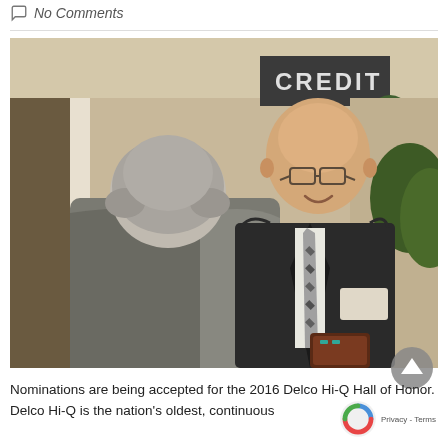No Comments
[Figure (photo): Two men in dark suits appear to be shaking hands or greeting each other indoors. The taller man facing the camera is bald with glasses, wearing a dark suit with a patterned tie and a name badge, and holding a plaque or award. The other man has gray hair and is seen from behind. A sign reading 'CREDIT' is partially visible in the background along with green plants.]
Nominations are being accepted for the 2016 Delco Hi-Q Hall of Honor. Delco Hi-Q is the nation's oldest, continuous